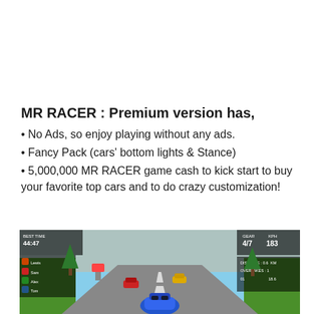MR RACER : Premium version has,
• No Ads, so enjoy playing without any ads.
• Fancy Pack (cars' bottom lights & Stance)
• 5,000,000 MR RACER game cash to kick start to buy your favorite top cars and to do crazy customization!
[Figure (screenshot): Screenshot of MR RACER mobile game showing a blue car racing on a road with other cars, HUD displaying BEST TIME 44:47, GEAR 4/7, KPH 183, DISTANCE, OVERTAKES stats, and a leaderboard on the left side.]